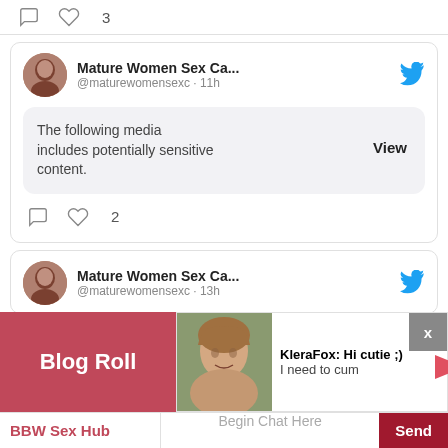[Figure (screenshot): Twitter/social media feed screenshot showing tweet cards with profile images, sensitive content warning, and a chat popup overlay with 'Blog Roll' and 'BBW Sex Hub' links]
♡ 3
Mature Women Sex Ca... @maturewomensexc · 11h
The following media includes potentially sensitive content.
View
♡ 2
Mature Women Sex Ca... @maturewomensexc · 13h
Blog Roll
KleraFox: Hi cutie ;) I need to cum
X
Begin Chat Here
Send
BBW Sex Hub